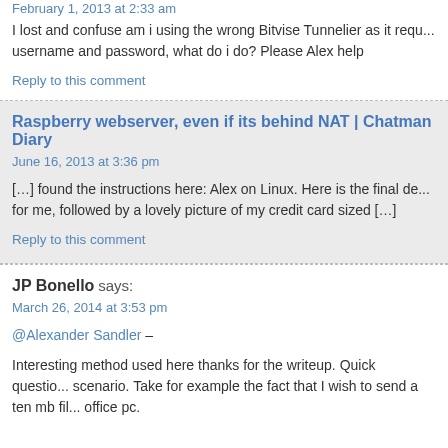February 1, 2013 at 2:33 am
I lost and confuse am i using the wrong Bitvise Tunnelier as it requ... username and password, what do i do? Please Alex help
Reply to this comment
Raspberry webserver, even if its behind NAT | Chatman Diary
June 16, 2013 at 3:36 pm
[…] found the instructions here: Alex on Linux. Here is the final de... for me, followed by a lovely picture of my credit card sized […]
Reply to this comment
JP Bonello says:
March 26, 2014 at 3:53 pm
@Alexander Sandler –
Interesting method used here thanks for the writeup. Quick questio... scenario. Take for example the fact that I wish to send a ten mb fil... office pc.